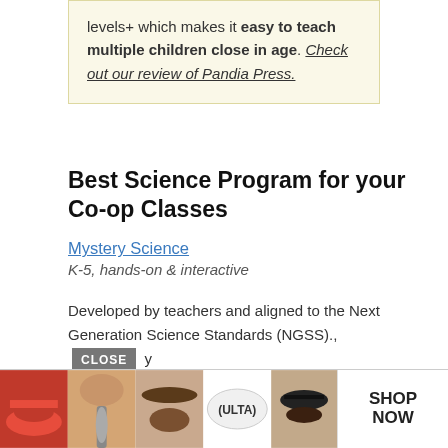levels+ which makes it easy to teach multiple children close in age. Check out our review of Pandia Press.
Best Science Program for your Co-op Classes
Mystery Science
K-5, hands-on & interactive
Developed by teachers and aligned to the Next Generation Science Standards (NGSS).. Mystery Science... for h... tion,
[Figure (photo): Advertisement banner with makeup/beauty images (lips with lipstick, makeup brush, eyebrows, ULTA logo, eye makeup) and SHOP NOW call to action, with a CLOSE button overlay.]